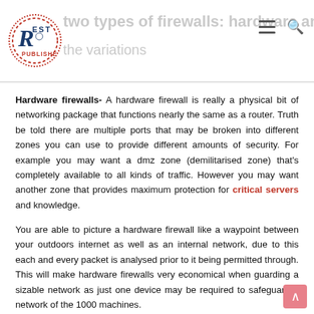REST PUBLISHERS — two types of firewalls: hardware and the variations
Hardware firewalls- A hardware firewall is really a physical bit of networking package that functions nearly the same as a router. Truth be told there are multiple ports that may be broken into different zones you can use to provide different amounts of security. For example you may want a dmz zone (demilitarised zone) that's completely available to all kinds of traffic. However you may want another zone that provides maximum protection for critical servers and knowledge.
You are able to picture a hardware firewall like a waypoint between your outdoors internet as well as an internal network, due to this each and every packet is analysed prior to it being permitted through. This will make hardware firewalls very economical when guarding a sizable network as just one device may be required to safeguard a network of the 1000 machines.